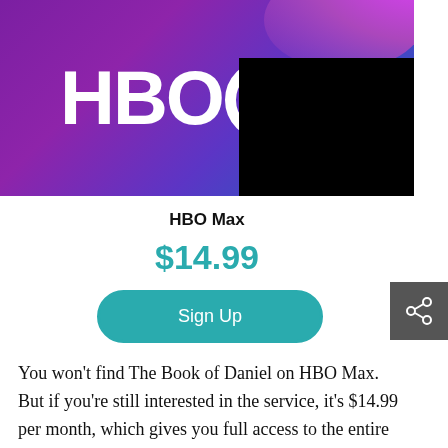[Figure (logo): HBO Max banner image with purple-to-blue gradient background and white HBO Max logo text. Upper right portion covered by a black rectangle.]
HBO Max
$14.99
Sign Up
You won't find The Book of Daniel on HBO Max. But if you're still interested in the service, it's $14.99 per month, which gives you full access to the entire vault,